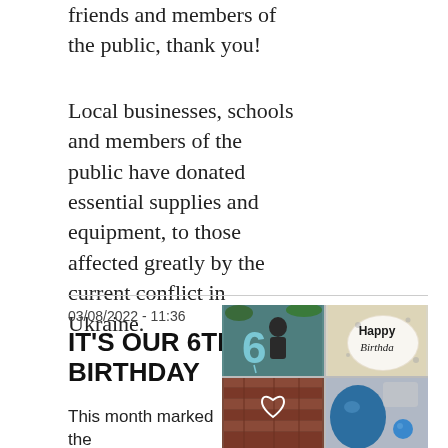friends and members of the public, thank you!
Local businesses, schools and members of the public have donated essential supplies and equipment, to those affected greatly by the current conflict in Ukraine.
03/08/2022 - 11:36
IT'S OUR 6TH BIRTHDAY
This month marked the 6th Anniversary of TinCan
[Figure (photo): Four-panel photo grid showing birthday celebration: top-left person with a large blue '6' balloon, top-right Happy Birthday balloon, bottom-left brick wall scene, bottom-right blue balloon close-up]